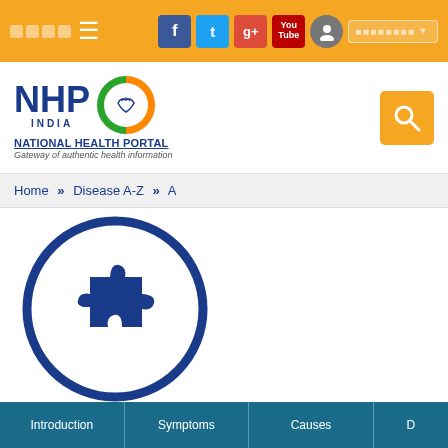NHP India - National Health Portal - Gateway of authentic health information
Home » Disease A-Z » A
[Figure (illustration): Circular icon with a dark blue puzzle piece in the center on white background, outlined by a dark blue circle ring — symbol for autism awareness]
Autism
Introduction | Symptoms | Causes | D...